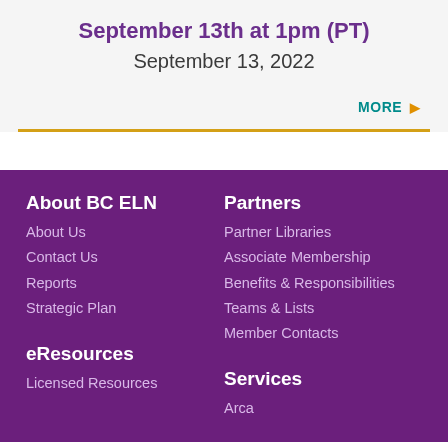September 13th at 1pm (PT)
September 13, 2022
MORE ▶
About BC ELN
About Us
Contact Us
Reports
Strategic Plan
Partners
Partner Libraries
Associate Membership
Benefits & Responsibilities
Teams & Lists
Member Contacts
eResources
Licensed Resources
Services
Arca